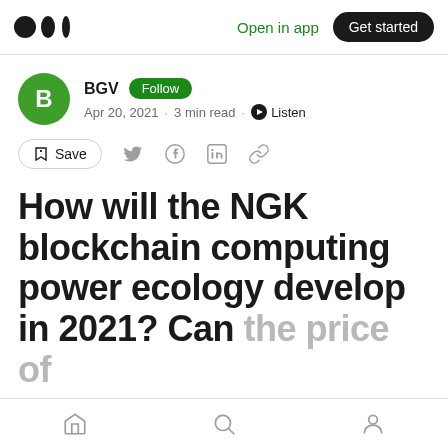Medium — Open in app · Get started
BGV Follow · Apr 20, 2021 · 3 min read · Listen
Save (social share icons)
How will the NGK blockchain computing power ecology develop in 2021? Can the price of